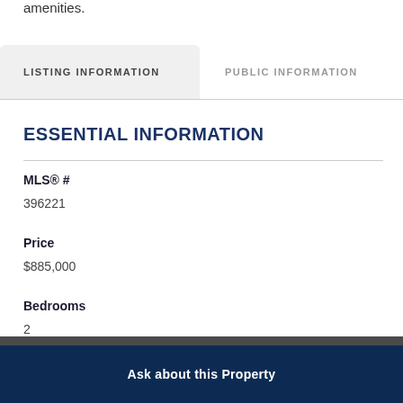amenities.
LISTING INFORMATION
PUBLIC INFORMATION
ESSENTIAL INFORMATION
MLS® #
396221
Price
$885,000
Bedrooms
2
Ask about this Property